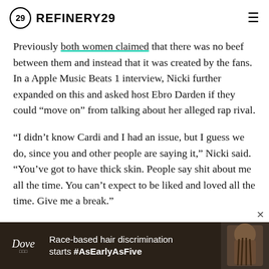REFINERY29
Previously both women claimed that there was no beef between them and instead that it was created by the fans. In a Apple Music Beats 1 interview, Nicki further expanded on this and asked host Ebro Darden if they could “move on” from talking about her alleged rap rival.
“I didn’t know Cardi and I had an issue, but I guess we do, since you and other people are saying it,” Nicki said. “You’ve got to have thick skin. People say shit about me all the time. You can’t expect to be liked and loved all the time. Give me a break.”
[Figure (other): Dove advertisement banner: Race-based hair discrimination starts #AsEarlyAsFive, with image of a woman with braids]